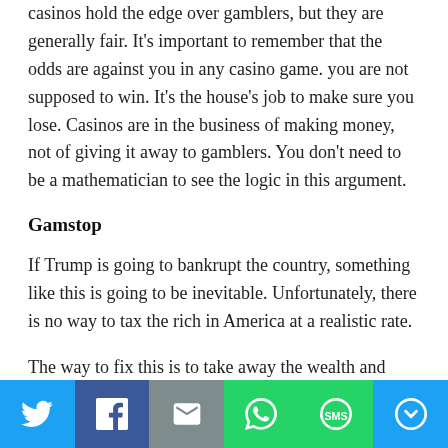casinos hold the edge over gamblers, but they are generally fair. It's important to remember that the odds are against you in any casino game. you are not supposed to win. It's the house's job to make sure you lose. Casinos are in the business of making money, not of giving it away to gamblers. You don't need to be a mathematician to see the logic in this argument.
Gamstop
If Trump is going to bankrupt the country, something like this is going to be inevitable. Unfortunately, there is no way to tax the rich in America at a realistic rate.
The way to fix this is to take away the wealth and connections of the top 1% in America.  It will take a
Share buttons: Twitter, Facebook, Email, WhatsApp, SMS, More